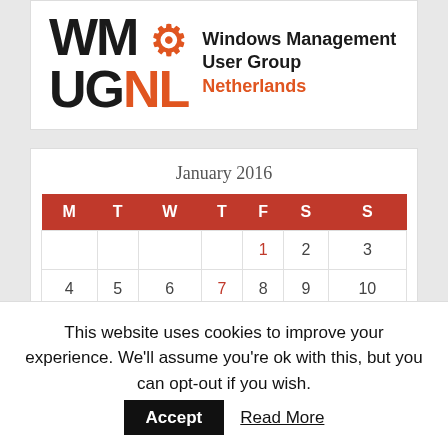[Figure (logo): WM UGNL logo — Windows Management User Group Netherlands, with orange gear icon and orange 'NL' and 'Netherlands' text]
| M | T | W | T | F | S | S |
| --- | --- | --- | --- | --- | --- | --- |
|  |  |  |  | 1 | 2 | 3 |
| 4 | 5 | 6 | 7 | 8 | 9 | 10 |
This website uses cookies to improve your experience. We'll assume you're ok with this, but you can opt-out if you wish.